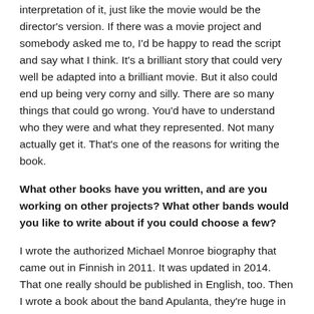interpretation of it, just like the movie would be the director's version. If there was a movie project and somebody asked me to, I'd be happy to read the script and say what I think. It's a brilliant story that could very well be adapted into a brilliant movie. But it also could end up being very corny and silly. There are so many things that could go wrong. You'd have to understand who they were and what they represented. Not many actually get it. That's one of the reasons for writing the book.
What other books have you written, and are you working on other projects? What other bands would you like to write about if you could choose a few?
I wrote the authorized Michael Monroe biography that came out in Finnish in 2011. It was updated in 2014. That one really should be published in English, too. Then I wrote a book about the band Apulanta, they're huge in Finland. Who I'd like to write